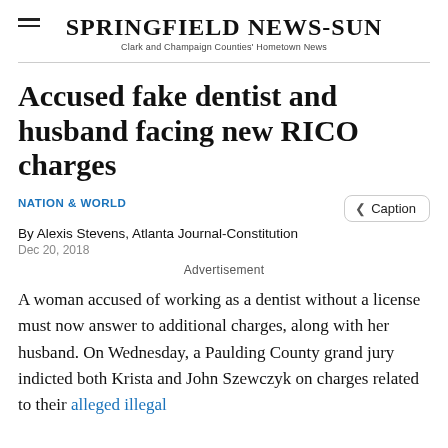SPRINGFIELD NEWS-SUN
Clark and Champaign Counties' Hometown News
Accused fake dentist and husband facing new RICO charges
NATION & WORLD
By Alexis Stevens, Atlanta Journal-Constitution
Dec 20, 2018
Advertisement
A woman accused of working as a dentist without a license must now answer to additional charges, along with her husband. On Wednesday, a Paulding County grand jury indicted both Krista and John Szewczyk on charges related to their alleged illegal